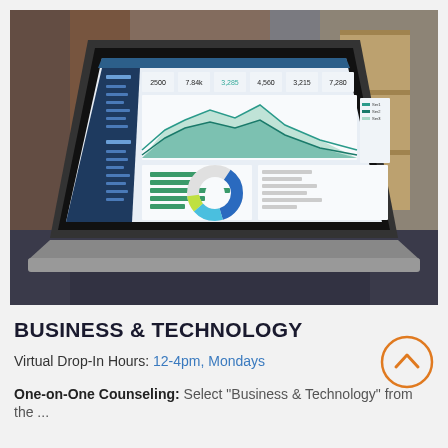[Figure (photo): Laptop on a desk displaying a business analytics dashboard with area charts, KPI metrics, bar charts, and a donut chart. Office shelving and door visible in background.]
BUSINESS & TECHNOLOGY
Virtual Drop-In Hours: 12-4pm, Mondays
One-on-One Counseling: Select "Business & Technology" from the ...